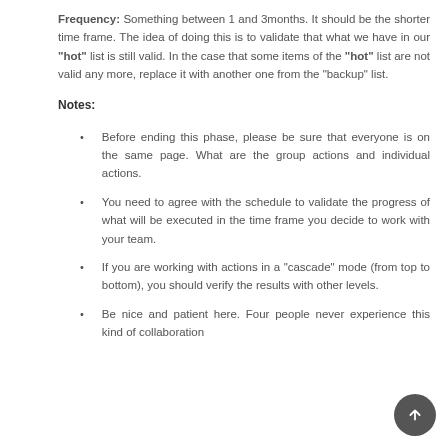Frequency: Something between 1 and 3months. It should be the shorter time frame. The idea of doing this is to validate that what we have in our "hot" list is still valid. In the case that some items of the "hot" list are not valid any more, replace it with another one from the "backup" list.
Notes:
Before ending this phase, please be sure that everyone is on the same page. What are the group actions and individual actions.
You need to agree with the schedule to validate the progress of what will be executed in the time frame you decide to work with your team.
If you are working with actions in a “cascade” mode (from top to bottom), you should verify the results with other levels.
Be nice and patient here. Four people never experience this kind of collaboration